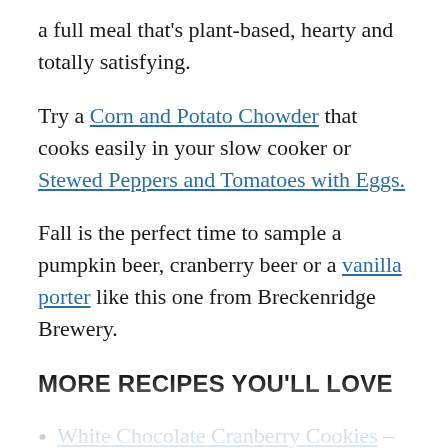a full meal that's plant-based, hearty and totally satisfying.
Try a Corn and Potato Chowder that cooks easily in your slow cooker or Stewed Peppers and Tomatoes with Eggs.
Fall is the perfect time to sample a pumpkin beer, cranberry beer or a vanilla porter like this one from Breckenridge Brewery.
MORE RECIPES YOU'LL LOVE
White Chocolate Cranberry Cookies – the white chocolate makes them velvety smooth while the tangy flavor of cranberries keeps